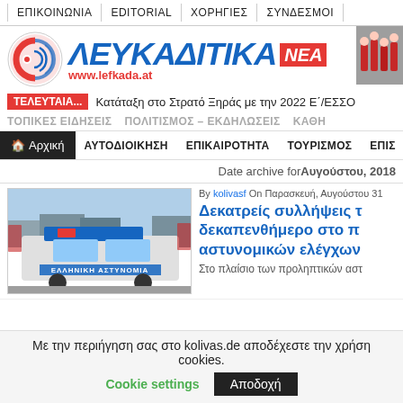ΕΠΙΚΟΙΝΩΝΙΑ | EDITORIAL | ΧΟΡΗΓΙΕΣ | ΣΥΝΔΕΣΜΟΙ
[Figure (logo): Lefkaditika Nea logo with circular emblem, blue Greek text ΛΕΥΚΑΔΙΤΙΚΑ, red NEA badge, and www.lefkada.at URL]
ΤΕΛΕΥΤΑΙΑ... Κατάταξη στο Στρατό Ξηράς με την 2022 Ε΄/ΕΣΣΟ
ΤΟΠΙΚΕΣ ΕΙΔΗΣΕΙΣ   ΠΟΛΙΤΙΣΜΟΣ – ΕΚΔΗΛΩΣΕΙΣ   ΚΑΘΗ
🏠 Αρχική  ΑΥΤΟΔΙΟΙΚΗΣΗ  ΕΠΙΚΑΙΡΟΤΗΤΑ  ΤΟΥΡΙΣΜΟΣ  ΕΠΙΣ
Date archive forΑυγούστου, 2018
[Figure (photo): Greek police car (ΕΛΛΗΝΙΚΗ ΑΣΤΥΝΟΜΙΑ) with blue lights on top]
By kolivasf On Παρασκευή, Αυγούστου 31
Δεκατρείς συλλήψεις τ... δεκαπενθήμερο στο π... αστυνομικών ελέγχων...
Στο πλαίσιο των προληπτικών αστ...
Με την περιήγηση σας στο kolivas.de αποδέχεστε την χρήση cookies.  Cookie settings  Αποδοχή